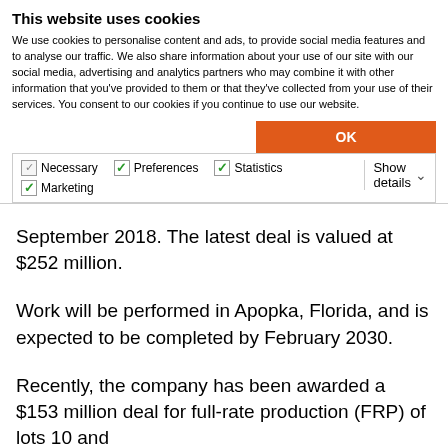This website uses cookies
We use cookies to personalise content and ads, to provide social media features and to analyse our traffic. We also share information about your use of our site with our social media, advertising and analytics partners who may combine it with other information that you've provided to them or that they've collected from your use of their services. You consent to our cookies if you continue to use our website.
OK
Necessary  Preferences  Statistics  Marketing  Show details
September 2018. The latest deal is valued at $252 million.
Work will be performed in Apopka, Florida, and is expected to be completed by February 2030.
Recently, the company has been awarded a $153 million deal for full-rate production (FRP) of lots 10 and 11 of about FY4 2070 plus plus plus plus plus plus plus plus